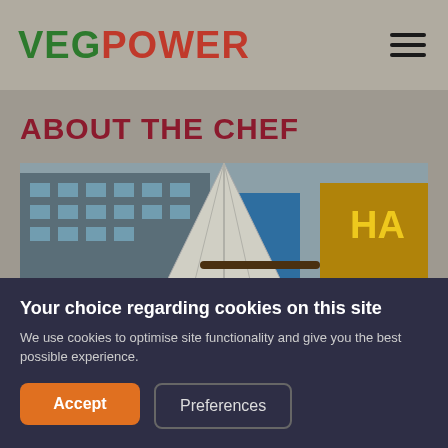VEGPOWER
ABOUT THE CHEF
[Figure (photo): Outdoor event scene with a large white tipi/bell tent in the foreground against an urban building backdrop, and illuminated signage on the right side.]
Your choice regarding cookies on this site
We use cookies to optimise site functionality and give you the best possible experience.
Accept
Preferences